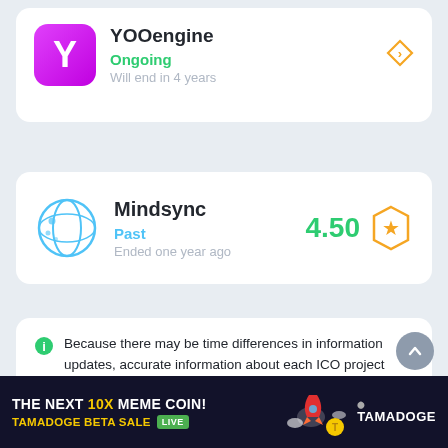[Figure (screenshot): YOOengine ICO listing card, partially visible at top. Shows magenta Y logo, Ongoing status in green, Will end in 4 years subtext, and an arrow badge on right.]
YOOengine
Ongoing
Will end in 4 years
[Figure (screenshot): Mindsync ICO listing card. Shows teal globe-like logo, Mindsync name, rating 4.50 with gold star hexagon badge, Past status in blue, Ended one year ago subtext.]
Mindsync
4.50
Past
Ended one year ago
Because there may be time differences in information updates, accurate information about each ICO project should be verified through its official website or other communication channels.
This information is not a suggestion or advice on
[Figure (advertisement): Tamadoge ad banner at bottom. Dark navy background. Text: THE NEXT 10X MEME COIN! TAMADOGE BETA SALE LIVE. Tamadoge logo with coin and rocket illustration on right.]